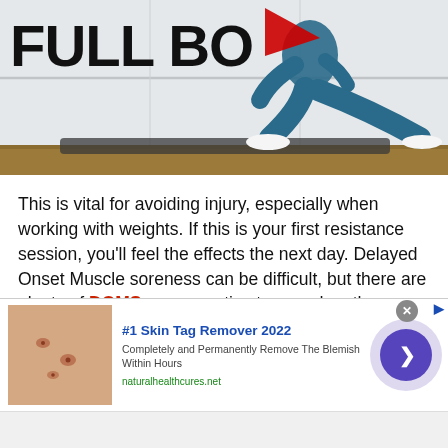[Figure (photo): Fitness woman in blue workout clothes doing a lunge exercise on a dark yoga mat against a light wall. Overlaid text reads 'FULL BO' with a YouTube play button icon partially covering the text.]
This is vital for avoiding injury, especially when working with weights. If this is your first resistance session, you'll feel the effects the next day. Delayed Onset Muscle soreness can be difficult, but there are plenty of DOMS recovery tips to speed up the process.
[Figure (screenshot): Advertisement banner: '#1 Skin Tag Remover 2022' with image of skin tags on arm, description 'Completely and Permanently Remove The Blemish Within Hours', URL naturalhealthcures.net, and a purple circle arrow button on the right.]